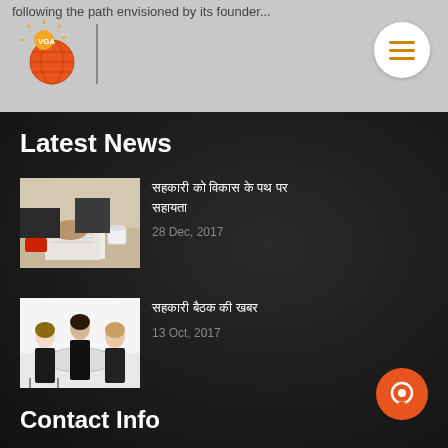following the path envisioned by its founder...
[Figure (logo): VGA globe logo with sun rays, orange and red colors]
Latest News
[Figure (photo): Business meeting photo showing hands on table with documents and smartphone]
[Hindi text headline 1]
28 Dec, 2017
[Figure (photo): Three people in business attire sitting at a round table meeting]
[Hindi text headline 2]
13 Oct, 2017
Contact Info